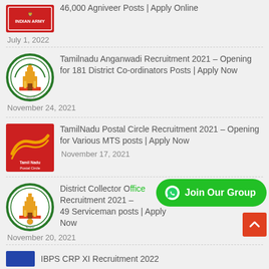[Figure (logo): Indian Army logo (red background with text)]
46,000 Agniveer Posts | Apply Online
July 1, 2022
[Figure (logo): Tamilnadu government emblem - circular green border with golden temple]
Tamilnadu Anganwadi Recruitment 2021 – Opening for 181 District Co-ordinators Posts | Apply Now
November 24, 2021
[Figure (logo): Tamil Nadu Postal Circle logo - red background with golden bird/wave design]
TamilNadu Postal Circle Recruitment 2021 – Opening for Various MTS posts | Apply Now
November 17, 2021
[Figure (logo): District Collector office seal - circular emblem with temple]
District Collector Office Recruitment 2021 – 49 Serviceman posts | Apply Now
November 20, 2021
[Figure (logo): IBPS CRP XI logo (blue)]
IBPS CRP XI Recruitment 2022